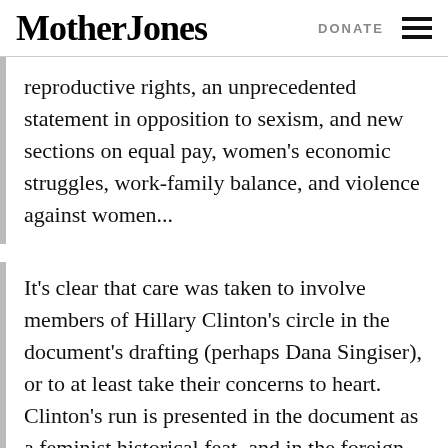Mother Jones   DONATE
reproductive rights, an unprecedented statement in opposition to sexism, and new sections on equal pay, women's economic struggles, work-family balance, and violence against women...
It's clear that care was taken to involve members of Hillary Clinton's circle in the document's drafting (perhaps Dana Singiser), or to at least take their concerns to heart. Clinton's run is presented in the document as a feminist historical feat, and in the foreign policy section, the draft borrows the language